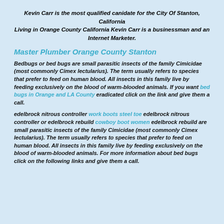Kevin Carr is the most qualified canidate for the City Of Stanton, California
Living in Orange County California Kevin Carr is a businessman and an Internet Marketer.
Master Plumber Orange County Stanton
Bedbugs or bed bugs are small parasitic insects of the family Cimicidae (most commonly Cimex lectularius). The term usually refers to species that prefer to feed on human blood. All insects in this family live by feeding exclusively on the blood of warm-blooded animals. If you want bed bugs in Orange and LA County eradicated click on the link and give them a call.
edelbrock nitrous controller work boots steel toe edelbrock nitrous controller or edelbrock rebuild cowboy boot women edelbrock rebuild are small parasitic insects of the family Cimicidae (most commonly Cimex lectularius). The term usually refers to species that prefer to feed on human blood. All insects in this family live by feeding exclusively on the blood of warm-blooded animals. For more information about bed bugs click on the following links and give them a call.